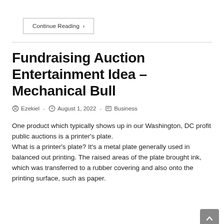Continue Reading →
Fundraising Auction Entertainment Idea – Mechanical Bull
Ezekiel  -  August 1, 2022  -  Business
One product which typically shows up in our Washington, DC profit public auctions is a printer's plate. What is a printer's plate? It's a metal plate generally used in balanced out printing. The raised areas of the plate brought ink, which was transferred to a rubber covering and also onto the printing surface, such as paper.